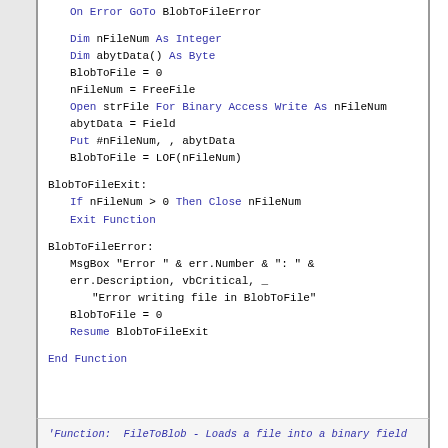On Error GoTo BlobToFileError
Dim nFileNum As Integer
Dim abytData() As Byte
BlobToFile = 0
nFileNum = FreeFile
Open strFile For Binary Access Write As nFileNum
abytData = Field
Put #nFileNum, , abytData
BlobToFile = LOF(nFileNum)
BlobToFileExit:
If nFileNum > 0 Then Close nFileNum
Exit Function
BlobToFileError:
MsgBox "Error " & err.Number & ": " & err.Description, vbCritical, _
        "Error writing file in BlobToFile"
BlobToFile = 0
Resume BlobToFileExit
End Function
'Function:  FileToBlob - Loads a file into a binary field